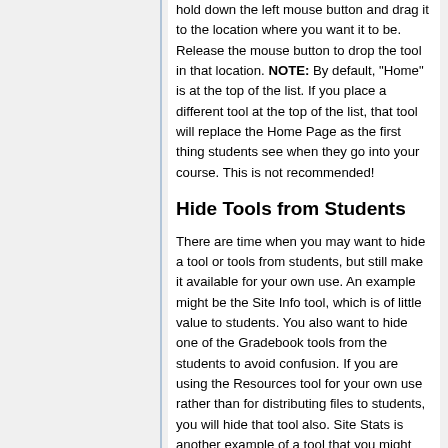hold down the left mouse button and drag it to the location where you want it to be. Release the mouse button to drop the tool in that location. NOTE: By default, "Home" is at the top of the list. If you place a different tool at the top of the list, that tool will replace the Home Page as the first thing students see when they go into your course. This is not recommended!
Hide Tools from Students
There are time when you may want to hide a tool or tools from students, but still make it available for your own use. An example might be the Site Info tool, which is of little value to students. You also want to hide one of the Gradebook tools from the students to avoid confusion. If you are using the Resources tool for your own use rather than for distributing files to students, you will hide that tool also. Site Stats is another example of a tool that you might want for your own use, but not allow students to access.